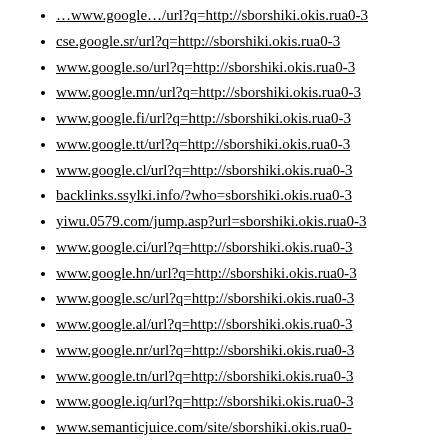cse.google.sr/url?q=http://sborshiki.okis.rua0-3
www.google.so/url?q=http://sborshiki.okis.rua0-3
www.google.mn/url?q=http://sborshiki.okis.rua0-3
www.google.fi/url?q=http://sborshiki.okis.rua0-3
www.google.tt/url?q=http://sborshiki.okis.rua0-3
www.google.cl/url?q=http://sborshiki.okis.rua0-3
backlinks.ssylki.info/?who=sborshiki.okis.rua0-3
yiwu.0579.com/jump.asp?url=sborshiki.okis.rua0-3
www.google.ci/url?q=http://sborshiki.okis.rua0-3
www.google.hn/url?q=http://sborshiki.okis.rua0-3
www.google.sc/url?q=http://sborshiki.okis.rua0-3
www.google.al/url?q=http://sborshiki.okis.rua0-3
www.google.nr/url?q=http://sborshiki.okis.rua0-3
www.google.tn/url?q=http://sborshiki.okis.rua0-3
www.google.iq/url?q=http://sborshiki.okis.rua0-3
www.semanticjuice.com/site/sborshiki.okis.rua0-3